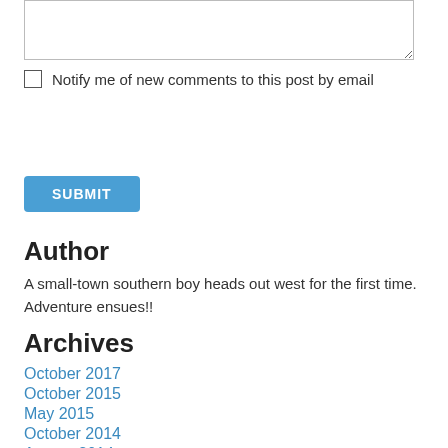[textarea input box]
Notify me of new comments to this post by email
SUBMIT
Author
A small-town southern boy heads out west for the first time. Adventure ensues!!
Archives
October 2017
October 2015
May 2015
October 2014
August 2014
July 2014
May 2014